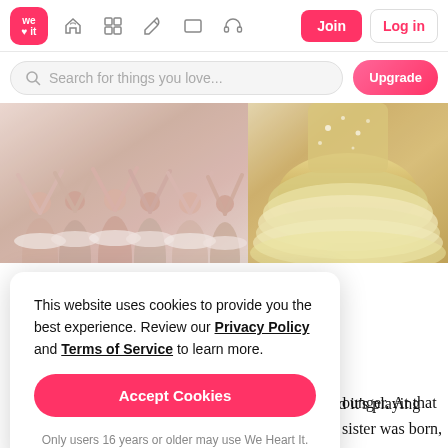[Figure (screenshot): We Heart It website navigation bar with logo, icons (home, grid, pen, rectangle, headphones), Join button and Log in button]
[Figure (screenshot): Search bar with placeholder 'Search for things you love...' and pink Upgrade button]
[Figure (photo): Ballet dancers in white tutus with arms raised, group photo]
[Figure (photo): Close-up of gold and white ballet tutus hanging]
This website uses cookies to provide you the best experience. Review our Privacy Policy and Terms of Service to learn more.
Accept Cookies
Only users 16 years or older may use We Heart It.
ounger. At that sister was born, I n I came back, I e years now, and it's too late. At least I have another dream that I can accomplish and it's playing the violin 🎵